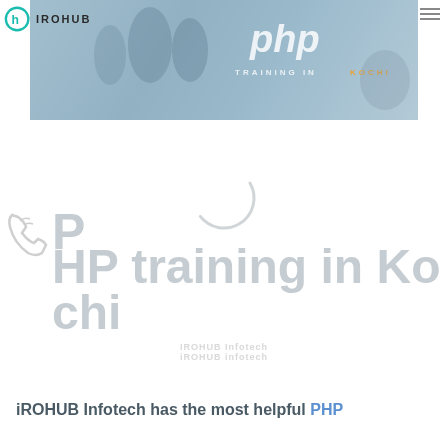IROHUB
[Figure (photo): PHP Training in Kochi banner image with people in background, PHP logo text overlaid on right side, with subtitle 'TRAINING IN KOCHI']
[Figure (other): Loading spinner / circular progress indicator]
PHP training in Kochi
IROHUB Infotech
iROHUB Infotech has the most helpful PHP